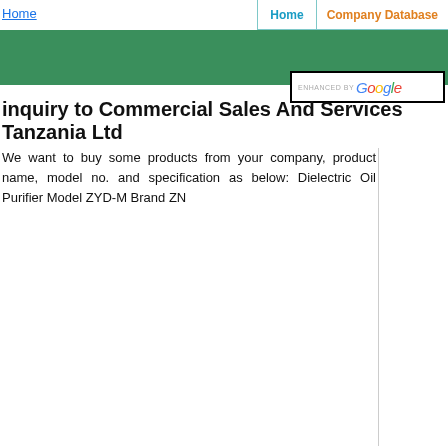Home
Home | Company Database
inquiry to Commercial Sales And Services Tanzania Ltd
We want to buy some products from your company, product name, model no. and specification as below: Dielectric Oil Purifier Model ZYD-M Brand ZN